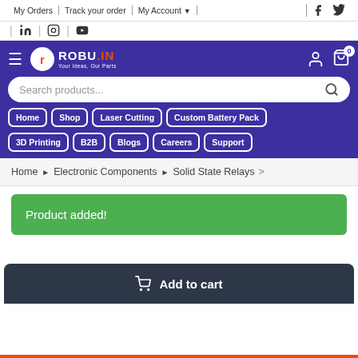My Orders | Track your order | My Account
[Figure (screenshot): Robu.in e-commerce website header with navigation, search bar, nav buttons, breadcrumb, product added notification, and add to cart button]
Home > Electronic Components > Solid State Relays
Product added!
Add to cart